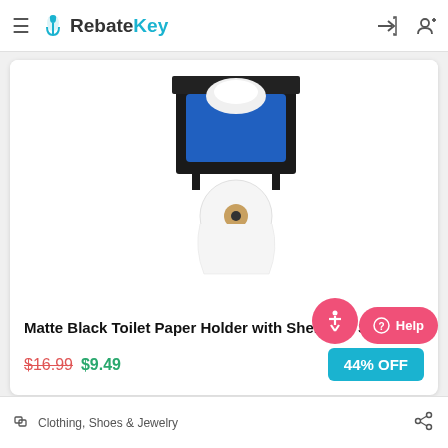RebateKey
[Figure (photo): Matte black toilet paper holder with shelf on top holding a blue wipes container, and a toilet paper roll below.]
Matte Black Toilet Paper Holder with Shelf and Stora...
$16.99 $9.49
44% OFF
Clothing, Shoes & Jewelry